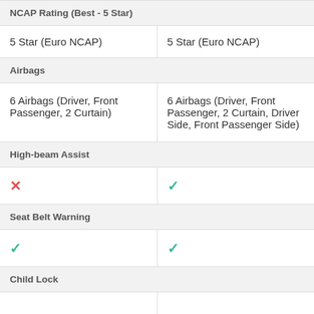| NCAP Rating (Best - 5 Star) |  |
| --- | --- |
| 5 Star (Euro NCAP) | 5 Star (Euro NCAP) |
| Airbags |  |
| 6 Airbags (Driver, Front Passenger, 2 Curtain) | 6 Airbags (Driver, Front Passenger, 2 Curtain, Driver Side, Front Passenger Side) |
| High-beam Assist |  |
| ✗ | ✓ |
| Seat Belt Warning |  |
| ✓ | ✓ |
| Child Lock |  |
|  |  |